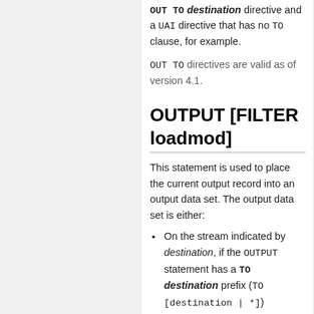OUT TO destination directive and a UAI directive that has no TO clause, for example.
OUT TO directives are valid as of version 4.1.
OUTPUT [FILTER loadmod]
This statement is used to place the current output record into an output data set. The output data set is either:
On the stream indicated by destination, if the OUTPUT statement has a TO destination prefix (TO [destination | *])
On the implied output stream, if there is no TO destination prefix
The prefix may be omitted if there is